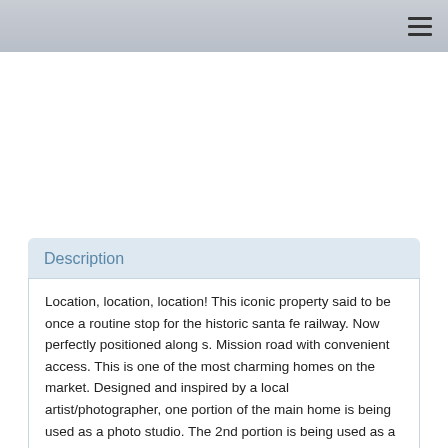Description
Location, location, location! This iconic property said to be once a routine stop for the historic santa fe railway. Now perfectly positioned along s. Mission road with convenient access. This is one of the most charming homes on the market. Designed and inspired by a local artist/photographer, one portion of the main home is being used as a photo studio. The 2nd portion is being used as a wholesale plant nursery. There are multiple structures on the